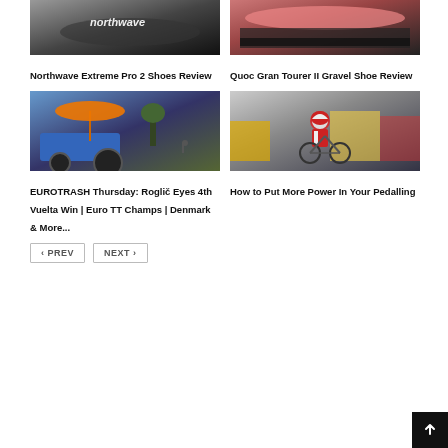[Figure (photo): Northwave cycling shoe close-up, black and white, with Northwave logo text visible]
Northwave Extreme Pro 2 Shoes Review
[Figure (photo): Quoc Gran Tourer II gravel shoe close-up, pink saddle and dark tire visible]
Quoc Gran Tourer II Gravel Shoe Review
[Figure (photo): Blue tractor with orange umbrella on dirt road, cyclist visible in background]
EUROTRASH Thursday: Roglič Eyes 4th Vuelta Win | Euro TT Champs | Denmark & More...
[Figure (photo): Cyclist in red and white jersey racing with crowd watching on mountain road]
How to Put More Power In Your Pedalling
PREV  NEXT